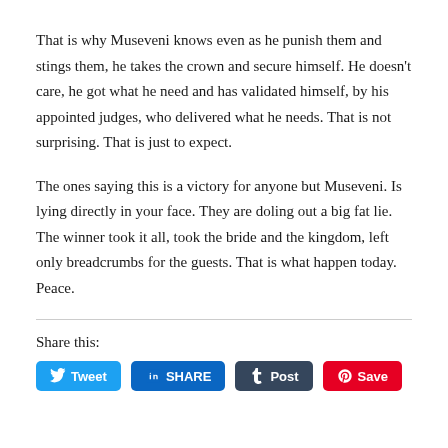That is why Museveni knows even as he punish them and stings them, he takes the crown and secure himself. He doesn't care, he got what he need and has validated himself, by his appointed judges, who delivered what he needs. That is not surprising. That is just to expect.
The ones saying this is a victory for anyone but Museveni. Is lying directly in your face. They are doling out a big fat lie. The winner took it all, took the bride and the kingdom, left only breadcrumbs for the guests. That is what happen today. Peace.
Share this: